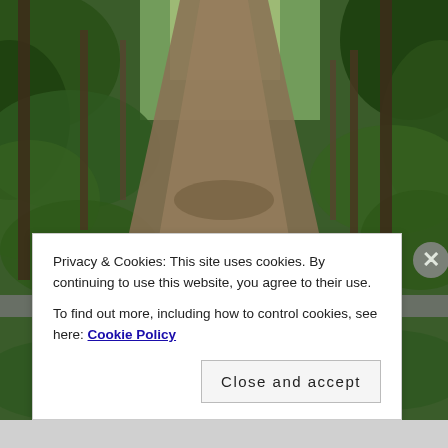[Figure (photo): A forest trail winding through dense green woodland, with dappled sunlight filtering through the tree canopy onto a leaf-covered dirt path.]
Privacy & Cookies: This site uses cookies. By continuing to use this website, you agree to their use.
To find out more, including how to control cookies, see here: Cookie Policy
Close and accept